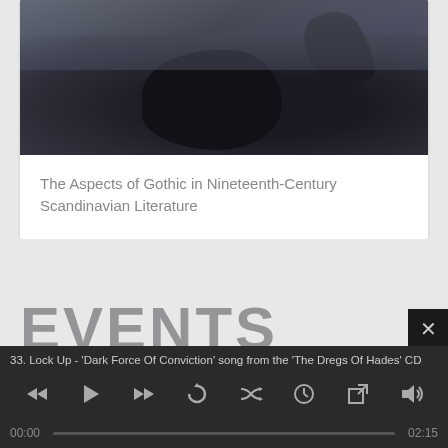[Figure (photo): Dark atmospheric photo of a person in black clothing on a bed, with dark hair, moody lighting]
The Aspects of Gothic in Nineteenth-Century Scandinavian Literature
EVENTS
& VENUES
33. Lock Up - 'Dark Force Of Conviction' song from the 'The Dregs Of Hades' CD
00:00
02:15